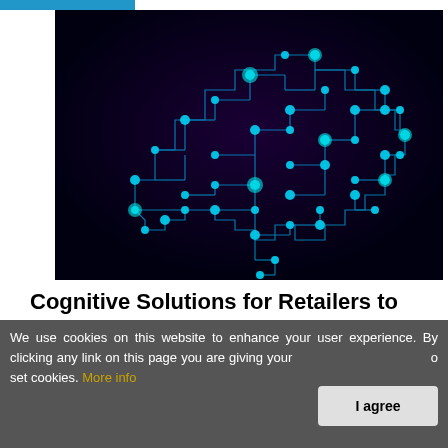[Figure (illustration): Digital brain illustration made of blue circuit board lines and glowing cyan nodes on a dark background, representing artificial intelligence and cognitive computing.]
Cognitive Solutions for Retailers to Manage Supply Chain
[Figure (photo): Partially visible second image below the title, showing a blurred dark scene.]
We use cookies on this website to enhance your user experience. By clicking any link on this page you are giving your consent for us to set cookies. More info